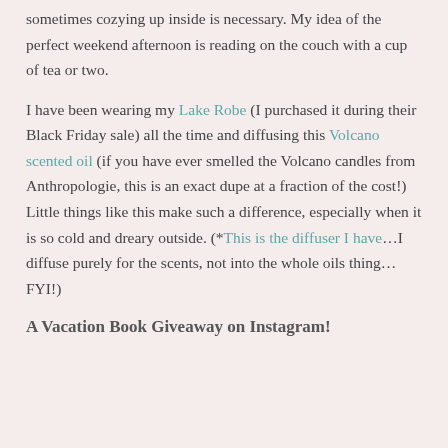sometimes cozying up inside is necessary. My idea of the perfect weekend afternoon is reading on the couch with a cup of tea or two.
I have been wearing my Lake Robe (I purchased it during their Black Friday sale) all the time and diffusing this Volcano scented oil (if you have ever smelled the Volcano candles from Anthropologie, this is an exact dupe at a fraction of the cost!) Little things like this make such a difference, especially when it is so cold and dreary outside. (*This is the diffuser I have…I diffuse purely for the scents, not into the whole oils thing…FYI!)
A Vacation Book Giveaway on Instagram!